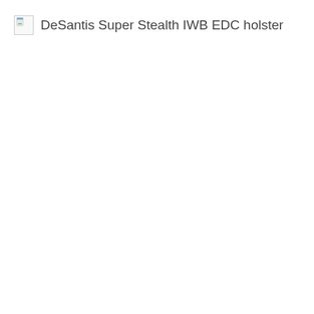[Figure (other): Broken/missing image placeholder icon (document icon with blue and green colors)]
DeSantis Super Stealth IWB EDC holster